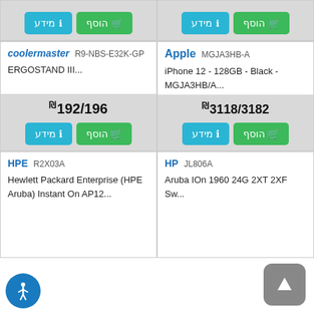[Figure (screenshot): Top strip showing two product card footers with add-to-cart and info buttons]
coolermaster R9-NBS-E32K-GP — ERGOSTAND III...
Apple MGJA3HB-A — iPhone 12 - 128GB - Black - MGJA3HB/A...
₪192/196
₪3118/3182
HPE R2X03A — Hewlett Packard Enterprise (HPE Aruba) Instant On AP12...
HP JL806A — Aruba IOn 1960 24G 2XT 2XF Sw...